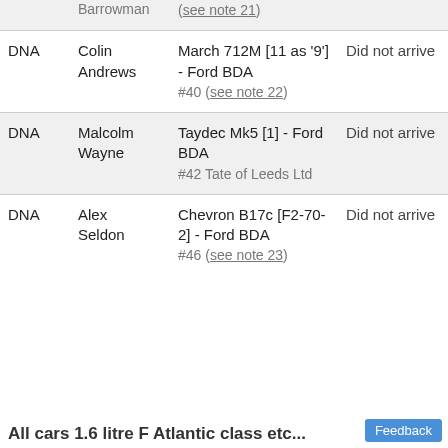|  | Driver | Car | Result |
| --- | --- | --- | --- |
|  | Barrowman | (see note 21) |  |
| DNA | Colin Andrews | March 712M [11 as '9'] - Ford BDA
#40 (see note 22) | Did not arrive |
| DNA | Malcolm Wayne | Taydec Mk5 [1] - Ford BDA
#42 Tate of Leeds Ltd | Did not arrive |
| DNA | Alex Seldon | Chevron B17c [F2-70-2] - Ford BDA
#46 (see note 23) | Did not arrive |
All cars 1.6 litre F Atlantic class etc...